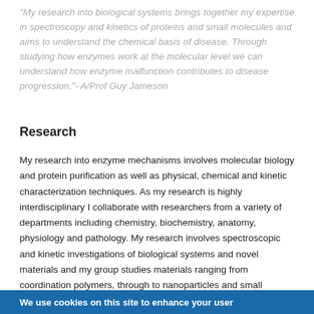"My research into biological systems brings together my expertise in spectroscopy and kinetics of proteins and small molecules and aims to understand the chemical basis of disease. Through studying how enzymes work at the molecular level we can understand how enzyme malfunction contributes to disease progression." - A/Prof Guy Jameson
Research
My research into enzyme mechanisms involves molecular biology and protein purification as well as physical, chemical and kinetic characterization techniques. As my research is highly interdisciplinary I collaborate with researchers from a variety of departments including chemistry, biochemistry, anatomy, physiology and pathology. My research involves spectroscopic and kinetic investigations of biological systems and novel materials and my group studies materials ranging from coordination polymers, through to nanoparticles and small inorganic complexes, as well as biological samples such as proteins. In particular, we are interested in
We use cookies on this site to enhance your user